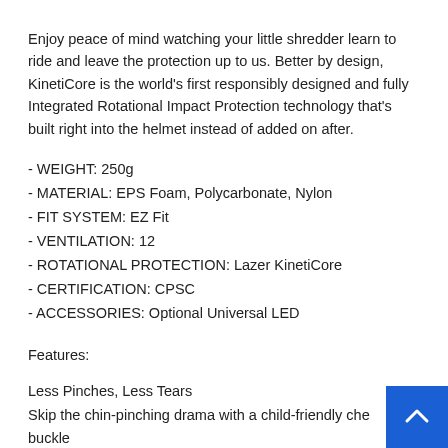Enjoy peace of mind watching your little shredder learn to ride and leave the protection up to us. Better by design, KinetiCore is the world's first responsibly designed and fully Integrated Rotational Impact Protection technology that's built right into the helmet instead of added on after.
- WEIGHT: 250g
- MATERIAL: EPS Foam, Polycarbonate, Nylon
- FIT SYSTEM: EZ Fit
- VENTILATION: 12
- ROTATIONAL PROTECTION: Lazer KinetiCore
- CERTIFICATION: CPSC
- ACCESSORIES: Optional Universal LED
Features:
Less Pinches, Less Tears
Skip the chin-pinching drama with a child-friendly che buckle